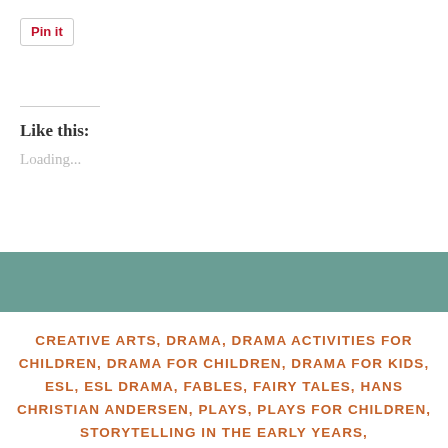[Figure (other): Pinterest 'Pin it' button widget]
Like this:
Loading...
CREATIVE ARTS, DRAMA, DRAMA ACTIVITIES FOR CHILDREN, DRAMA FOR CHILDREN, DRAMA FOR KIDS, ESL, ESL DRAMA, FABLES, FAIRY TALES, HANS CHRISTIAN ANDERSEN, PLAYS, PLAYS FOR CHILDREN, STORYTELLING IN THE EARLY YEARS,